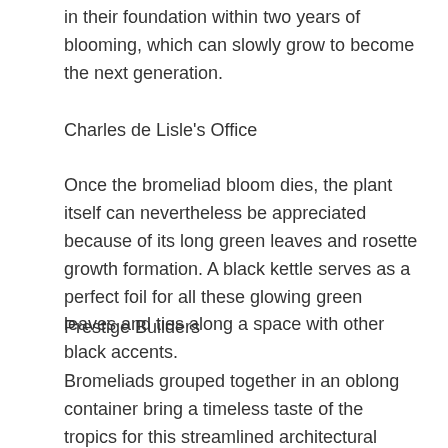in their foundation within two years of blooming, which can slowly grow to become the next generation.
Charles de Lisle's Office
Once the bromeliad bloom dies, the plant itself can nevertheless be appreciated because of its long green leaves and rosette growth formation. A black kettle serves as a perfect foil for all these glowing green leaves and ties along a space with other black accents.
Prestige Builders
Bromeliads grouped together in an oblong container bring a timeless taste of the tropics for this streamlined architectural space. The Guzmania rana blooms found here closely resemble that of the ginger plant, therefore despite the plant South American origins, it actually looks very Asian and is a nice complement to this shoji-screen-inspired